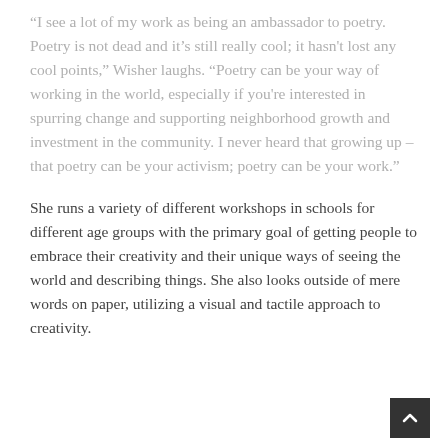“I see a lot of my work as being an ambassador to poetry. Poetry is not dead and it’s still really cool; it hasn't lost any cool points,” Wisher laughs. “Poetry can be your way of working in the world, especially if you're interested in spurring change and supporting neighborhood growth and investment in the community. I never heard that growing up – that poetry can be your activism; poetry can be your work.”
She runs a variety of different workshops in schools for different age groups with the primary goal of getting people to embrace their creativity and their unique ways of seeing the world and describing things. She also looks outside of mere words on paper, utilizing a visual and tactile approach to creativity.